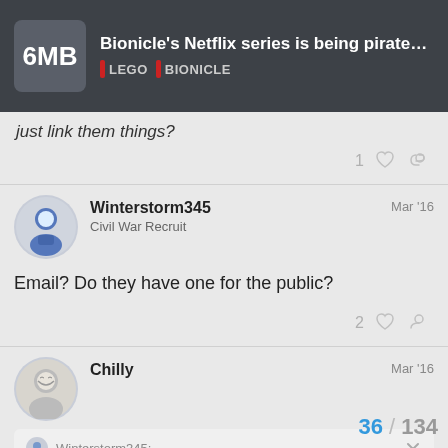Bionicle's Netflix series is being pirated, ple... | LEGO | BIONICLE
just link them things?
Winterstorm345
Civil War Recruit
Mar '16
Email? Do they have one for the public?
2
Chilly
Mar '16
Winterstorm345:
Email? Do they have one for the public?
36 / 134